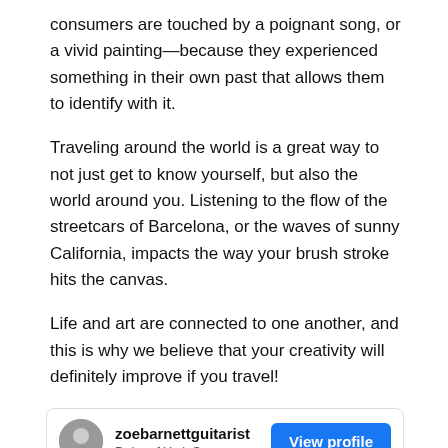consumers are touched by a poignant song, or a vivid painting—because they experienced something in their own past that allows them to identify with it.
Traveling around the world is a great way to not just get to know yourself, but also the world around you. Listening to the flow of the streetcars of Barcelona, or the waves of sunny California, impacts the way your brush stroke hits the canvas.
Life and art are connected to one another, and this is why we believe that your creativity will definitely improve if you travel!
[Figure (screenshot): Instagram-style social card for user 'zoebarnettguitarist' located at Duke of York Square, with a blue 'View profile' button and a photo strip showing buildings and trees.]